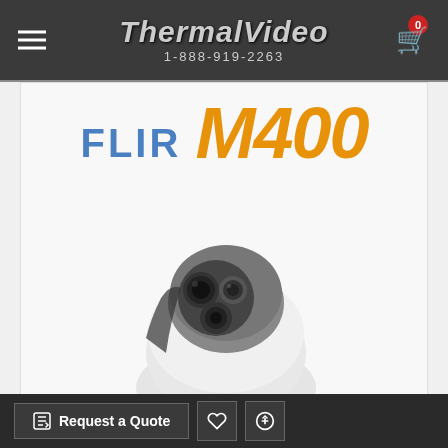ThermalVideo 1-888-919-2263
[Figure (photo): FLIR M400 thermal camera product photo with FLIR M400 logo text overlay. White PTZ thermal camera unit with dual-lens assembly visible on gray housing.]
This website uses cookies to improve user experience and site performance, offer advertising tailored to your interests and enable social media sharing. By clicking “Accept”, you agree to our use of
Request a Quote